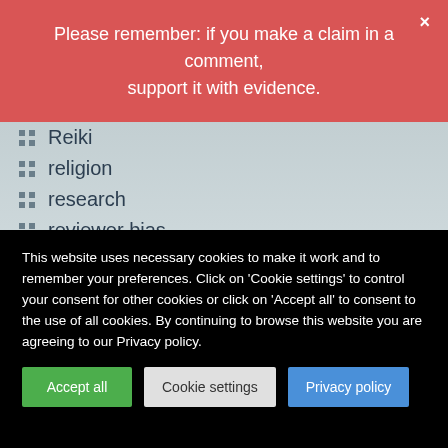Please remember: if you make a claim in a comment, support it with evidence.
Reiki
religion
research
reviewer bias
rheumatoid arthritis
risk
risk/benefit
Samueli Institute
satire
scientific misconduct
This website uses necessary cookies to make it work and to remember your preferences. Click on 'Cookie settings' to control your consent for other cookies or click on 'Accept all' to consent to the use of all cookies. By continuing to browse this website you are agreeing to our Privacy policy.